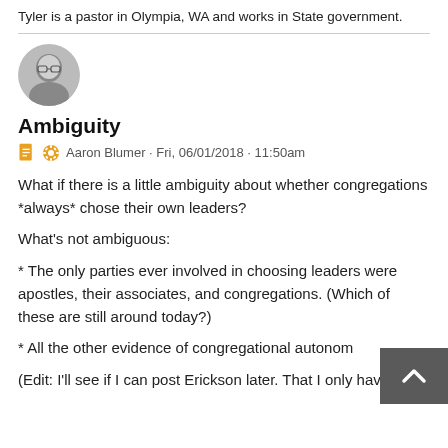Tyler is a pastor in Olympia, WA and works in State government.
[Figure (photo): Circular avatar photo of a bald man with glasses, black and white]
Ambiguity
Aaron Blumer · Fri, 06/01/2018 · 11:50am
What if there is a little ambiguity about whether congregations *always* chose their own leaders?
What's not ambiguous:
* The only parties ever involved in choosing leaders were apostles, their associates, and congregations. (Which of these are still around today?)
* All the other evidence of congregational autonomy
(Edit: I'll see if I can post Erickson later. That I only have in